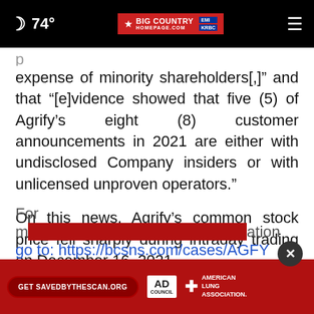74° Big Country Homepage.com
expense of minority shareholders[,]" and that "[e]vidence showed that five (5) of Agrify’s eight (8) customer announcements in 2021 are either with undisclosed Company insiders or with unlicensed unproven operators."
On this news, Agrify’s common stock price fell sharply during intraday trading on December 16, 2021.
For more information go to: https://bcsns.com/cases/AGFY